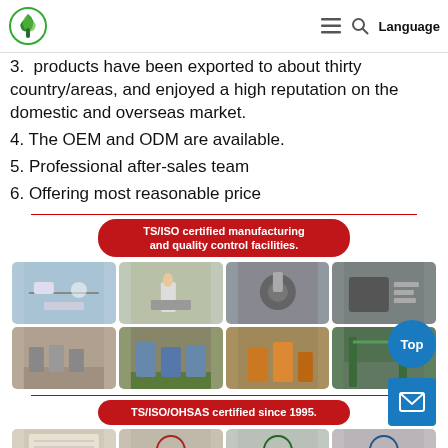Language
3. products have been exported to about thirty country/areas, and enjoyed a high reputation on the domestic and overseas market.
4. The OEM and ODM are available.
5. Professional after-sales team
6. Offering most reasonable price
[Figure (photo): Red banner: TS/ISO certified manufacturing and quality control facilities. Grid of 8 factory/lab photos showing quality control and manufacturing processes.]
[Figure (photo): Red banner: TS/ISO/OHSAS certified since 1995. Row of certification plaques/certificates.]